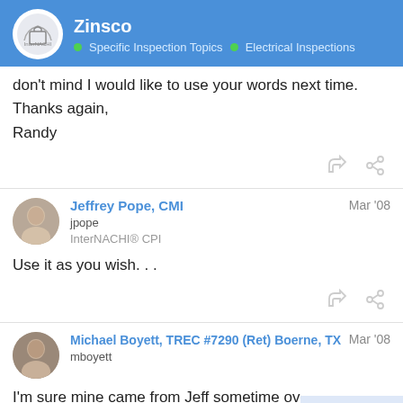Zinsco | Specific Inspection Topics | Electrical Inspections
don't mind I would like to use your words next time. Thanks again, Randy
Jeffrey Pope, CMI
jpope
InterNACHI® CPI
Mar '08
Use it as you wish. . .
Michael Boyett, TREC #7290 (Ret) Boerne, TX
mboyett
Mar '08
I'm sure mine came from Jeff sometime ov years...use 'em, modify 'em, make 'em yo
4 / 11